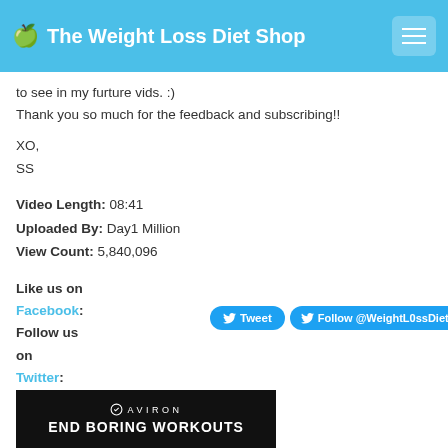🍏 The Weight Loss Diet Shop
to see in my furture vids. :)
Thank you so much for the feedback and subscribing!!
XO,
SS
Video Length: 08:41
Uploaded By: Day1 Million
View Count: 5,840,096
Like us on
Facebook:
Follow us on
Twitter:
[Figure (screenshot): Twitter social buttons: Tweet button, Follow @WeightL0ssDiets button, 20K followers badge]
[Figure (photo): Aviron advertisement banner with text END BORING WORKOUTS on black background]